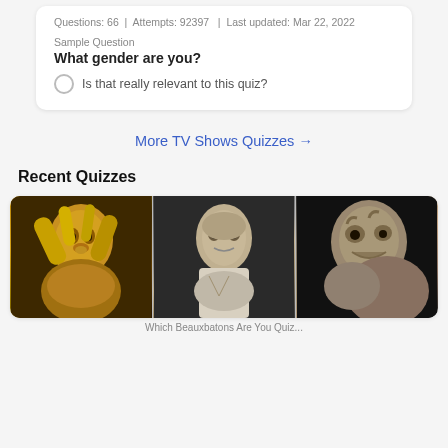Questions: 66  |  Attempts: 92397  |  Last updated: Mar 22, 2022
Sample Question
What gender are you?
Is that really relevant to this quiz?
More TV Shows Quizzes →
Recent Quizzes
[Figure (photo): Three photos side by side showing fantasy/sci-fi creature characters: a golden-haired humanoid figure, a bald gaunt character, and a monstrous alien creature.]
Which Beauxbatons Are You Quiz...